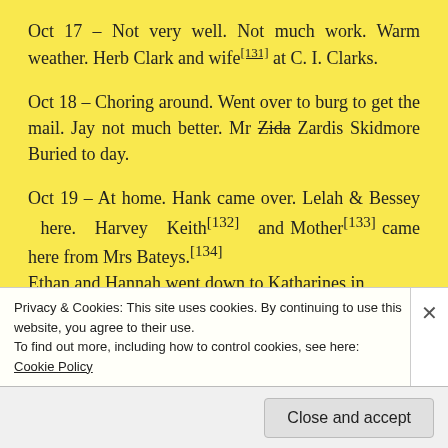Oct 17 – Not very well. Not much work. Warm weather. Herb Clark and wife[131] at C. I. Clarks.
Oct 18 – Choring around. Went over to burg to get the mail. Jay not much better. Mr Zida [strikethrough] Zardis Skidmore Buried to day.
Oct 19 – At home. Hank came over. Lelah & Bessey here. Harvey Keith[132] and Mother[133] came here from Mrs Bateys.[134] Ethan and Hannah went down to Katharines in
Privacy & Cookies: This site uses cookies. By continuing to use this website, you agree to their use.
To find out more, including how to control cookies, see here:
Cookie Policy
Close and accept